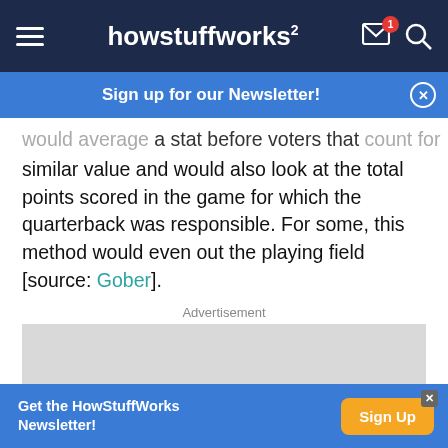howstuffworks
Sign up for our Newsletter!
would average a stat before voters that count for similar value and would also look at the total points scored in the game for which the quarterback was responsible. For some, this method would even out the playing field [source: Gober].
Advertisement
[Figure (other): Gray advertisement placeholder block]
Get the HowStuffWorks Newsletter!
Sign Up